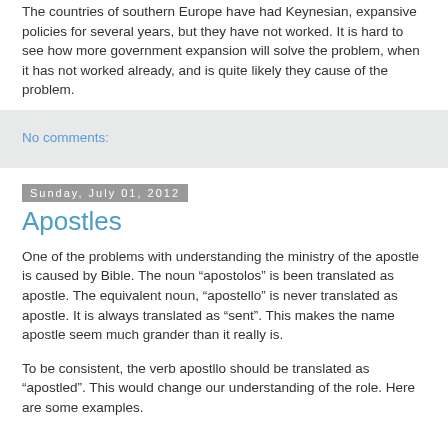The countries of southern Europe have had Keynesian, expansive policies for several years, but they have not worked. It is hard to see how more government expansion will solve the problem, when it has not worked already, and is quite likely they cause of the problem.
No comments:
Sunday, July 01, 2012
Apostles
One of the problems with understanding the ministry of the apostle is caused by Bible. The noun “apostolos” is been translated as apostle. The equivalent noun, “apostello” is never translated as apostle. It is always translated as “sent”. This makes the name apostle seem much grander than it really is.
To be consistent, the verb apostllo should be translated as “apostled”. This would change our understanding of the role. Here are some examples.